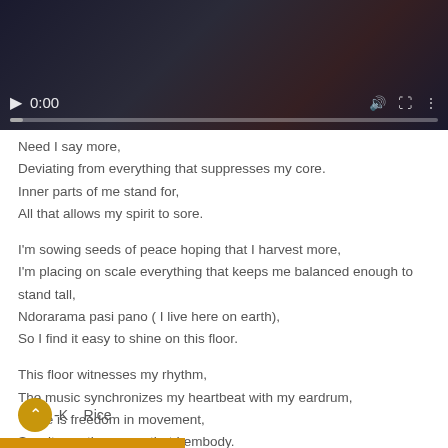[Figure (screenshot): Video player thumbnail showing play button, time display 0:00, progress bar, volume and fullscreen controls on a dark background.]
Need I say more,
Deviating from everything that suppresses my core.
Inner parts of me stand for,
All that allows my spirit to sore.

I'm sowing seeds of peace hoping that I harvest more,
I'm placing on scale everything that keeps me balanced enough to stand tall,
Ndorarama pasi pano ( I live here on earth),
So I find it easy to shine on this floor.

This floor witnesses my rhythm,
The music synchronizes my heartbeat with my eardrum,
There is freedom in movement,
So witness the power that I embody.
-K. Rice